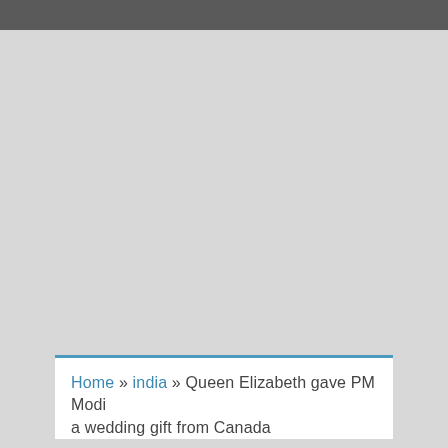[Figure (other): Gray placeholder image area covering most of the page]
Home » india » Queen Elizabeth gave PM Modi a wedding gift from Canada